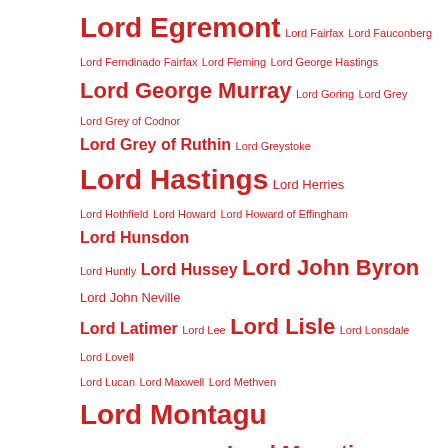Lord Egremont Lord Fairfax Lord Fauconberg Lord Ferndinado Fairfax Lord Fleming Lord George Hastings Lord George Murray Lord Goring Lord Grey Lord Grey of Codnor Lord Grey of Ruthin Lord Greystoke Lord Hastings Lord Herries Lord Hothfield Lord Howard Lord Howard of Effingham Lord Hunsdon Lord Huntly Lord Hussey Lord John Byron Lord John Neville Lord Latimer Lord Lee Lord Lisle Lord Lonsdale Lord Lovell Lord Lucan Lord Maxwell Lord Methven Lord Montagu Lord Mordington Lord Morley Lord Mountjoy Lord of Egremont Lord of Longueville Lord of Tancerville Lord of Westmorland Lord Palmerston Lord Poynings Lord Protector Lord Rivers Lord Robert Carey Lord Roos Lord Ros Lord Rothschild Lord Russell Lord Salisbury Lords Appellant Lords Appellants Lord Scrope Lordship of Ceredigion Lordship of Westmorland Lords Ordainers Lord Stanley Lord Strange Lord Sudeley Lord Thomas Grey Lord Thomas Howard Lord Thomas Stanley Lord Warden Lord Welles Lord Wells Lord Wharton Lord William Bonville Lord William Howard Lord Willoughby Lost Boy of Egremont